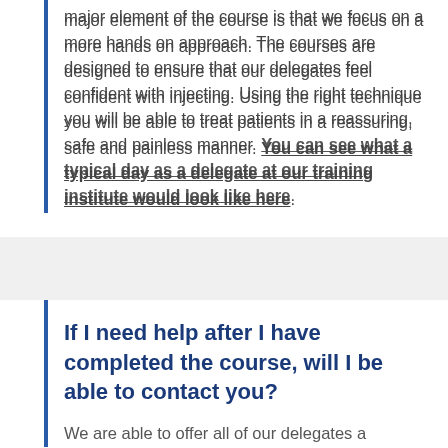major element of the course is that we focus on a more hands on approach. The courses are designed to ensure that our delegates feel confident with injecting. Using the right technique you will be able to treat patients in a reassuring, safe and painless manner. You can see what a typical day as a delegate at our training institute would look like here.
If I need help after I have completed the course, will I be able to contact you?
We are able to offer all of our delegates a